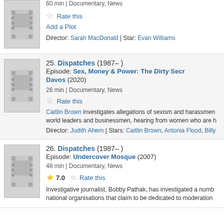[Figure (illustration): Film thumbnail placeholder for partial top entry]
60 min | Documentary, News
Rate this
Add a Plot
Director: Sarah MacDonald | Star: Evan Williams
[Figure (illustration): Film thumbnail placeholder for entry 25 Dispatches]
25. Dispatches (1987– )
Episode: Sex, Money & Power: The Dirty Secrets of Davos (2020)
26 min | Documentary, News
Rate this
Caitlin Brown investigates allegations of sexism and harassment among world leaders and businessmen, hearing from women who are h...
Director: Judith Ahern | Stars: Caitlin Brown, Antonia Flood, Billy...
[Figure (illustration): Film thumbnail placeholder for entry 26 Dispatches]
26. Dispatches (1987– )
Episode: Undercover Mosque (2007)
48 min | Documentary, News
7.0  Rate this
Investigative journalist, Bobby Pathak, has investigated a number of national organisations that claim to be dedicated to moderation...